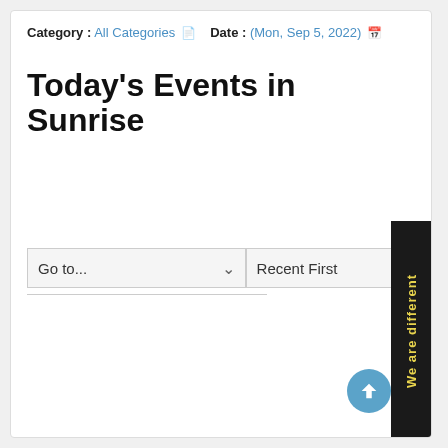Category : All Categories  Date : (Mon, Sep 5, 2022)
Today's Events in Sunrise
Go to...
Recent First
We are different